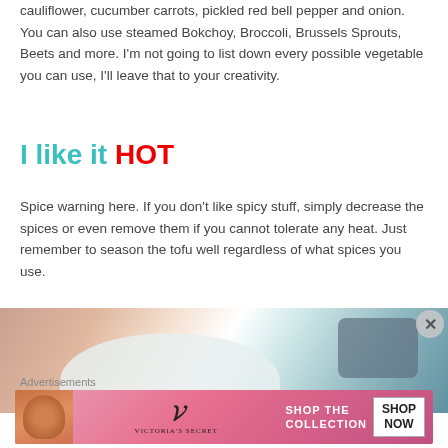cauliflower, cucumber carrots, pickled red bell pepper and onion. You can also use steamed Bokchoy, Broccoli, Brussels Sprouts, Beets and more. I'm not going to list down every possible vegetable you can use, I'll leave that to your creativity.
I like it HOT
Spice warning here. If you don't like spicy stuff, simply decrease the spices or even remove them if you cannot tolerate any heat. Just remember to season the tofu well regardless of what spices you use.
[Figure (photo): Close-up photo showing a white bowl or plate with blurred background items in teal/blue tones]
Advertisements
[Figure (photo): Victoria's Secret advertisement banner with model, VS logo, and 'SHOP THE COLLECTION' text with 'SHOP NOW' button]